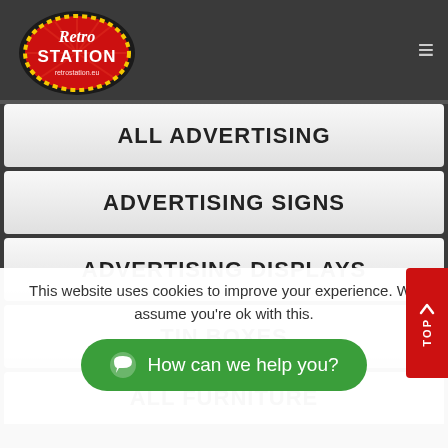Retro Station - retrostation.eu
ALL ADVERTISING
ADVERTISING SIGNS
ADVERTISING DISPLAYS
TIN BOXES
ALL FURNITURE
This website uses cookies to improve your experience. We assume you're ok with this.
How can we help you?